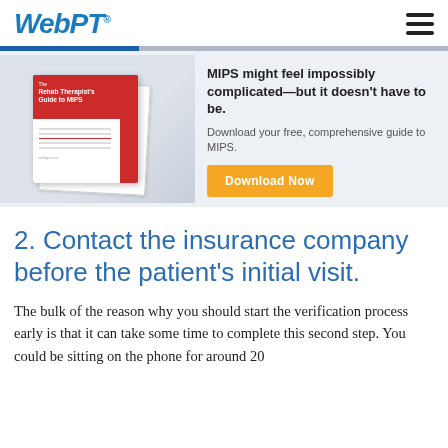WebPT
[Figure (illustration): WebPT branded advertisement banner featuring 'The Rehab Therapist's Guide to MIPS' book cover (red and white), with text: 'MIPS might feel impossibly complicated—but it doesn't have to be. Download your free, comprehensive guide to MIPS.' and an orange 'Download Now' button.]
2. Contact the insurance company before the patient's initial visit.
The bulk of the reason why you should start the verification process early is that it can take some time to complete this second step. You could be sitting on the phone for around 20